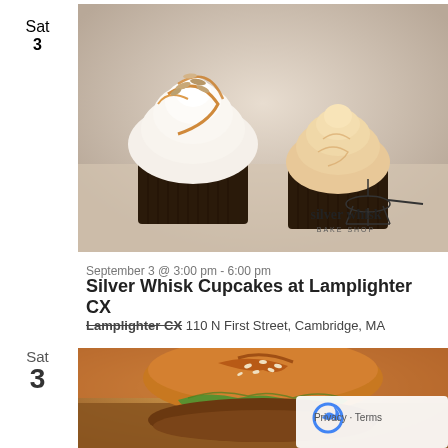Sat
3
[Figure (photo): Two chocolate cupcakes with white cream frosting, caramel drizzle, and almond toppings. Silver Whisk Bake Shop logo in bottom right corner.]
September 3 @ 3:00 pm - 6:00 pm
Silver Whisk Cupcakes at Lamplighter CX
Lamplighter CX 110 N First Street, Cambridge, MA
Sat
3
[Figure (photo): Close-up photo of a burger with sesame seed bun, lettuce, and sauce, with orange chairs visible in the background. A reCAPTCHA Privacy - Terms overlay appears in the bottom right.]